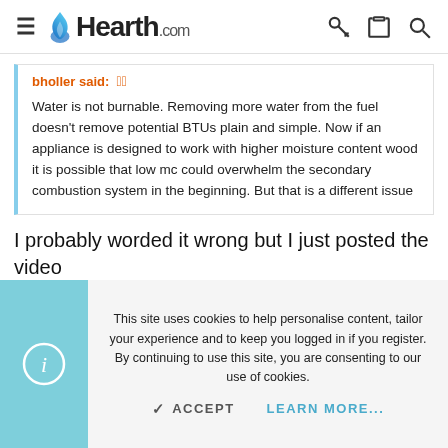Hearth.com
bholler said:  Water is not burnable. Removing more water from the fuel doesn't remove potential BTUs plain and simple. Now if an appliance is designed to work with higher moisture content wood it is possible that low mc could overwhelm the secondary combustion system in the beginning. But that is a different issue
I probably worded it wrong but I just posted the video
This site uses cookies to help personalise content, tailor your experience and to keep you logged in if you register. By continuing to use this site, you are consenting to our use of cookies.